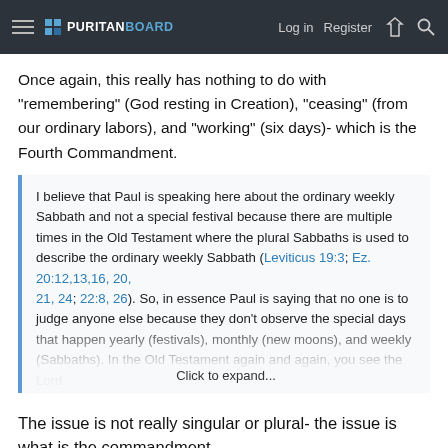Puritan Board — Log in | Register
Once again, this really has nothing to do with "remembering" (God resting in Creation), "ceasing" (from our ordinary labors), and "working" (six days)- which is the Fourth Commandment.
I believe that Paul is speaking here about the ordinary weekly Sabbath and not a special festival because there are multiple times in the Old Testament where the plural Sabbaths is used to describe the ordinary weekly Sabbath (Leviticus 19:3; Ez. 20:12,13,16, 20, 21, 24; 22:8, 26). So, in essence Paul is saying that no one is to judge anyone else because they don't observe the special days that happen yearly (festivals), monthly (new moons), and weekly (Sabbaths). In the Old Testament again and again, you see the Lord ... Click to expand...
The issue is not really singular or plural- the issue is what is the commandment.